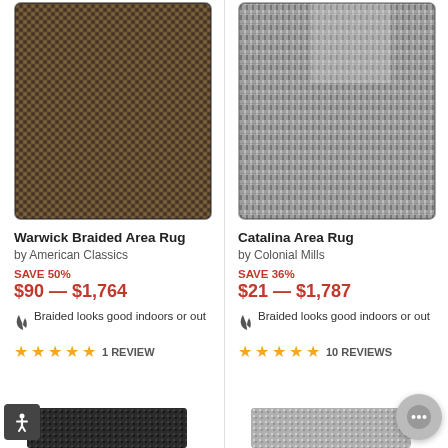[Figure (photo): Close-up photo of Warwick Braided Area Rug showing brown and black braided texture pattern]
Warwick Braided Area Rug
by American Classics
SAVE 50%
$90 — $1,764
Braided looks good indoors or out
★★★★★ 1 REVIEW
[Figure (photo): Close-up photo of Catalina Area Rug showing gray and white textured pattern]
Catalina Area Rug
by Colonial Mills
SAVE 36%
$21 — $1,787
Braided looks good indoors or out
★★★★★ 10 REVIEWS
[Figure (photo): Partial thumbnail of a dark colored rug at bottom left]
[Figure (photo): Partial thumbnail of a rug at bottom right]